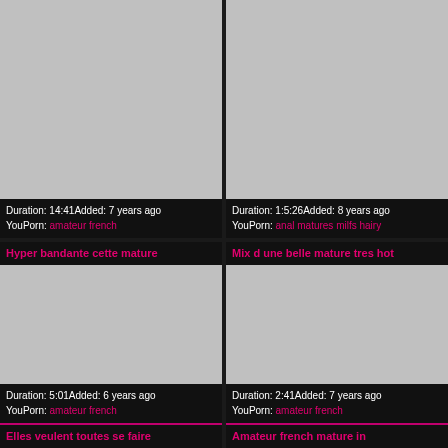[Figure (photo): Video thumbnail placeholder top-left]
Duration: 14:41Added: 7 years ago YouPorn: amateur french
[Figure (photo): Video thumbnail placeholder top-right]
Duration: 1:5:26Added: 8 years ago YouPorn: anal matures milfs hairy
Hyper bandante cette mature
[Figure (photo): Video thumbnail placeholder middle-left]
Duration: 5:01Added: 6 years ago YouPorn: amateur french
Mix d une belle mature tres hot
[Figure (photo): Video thumbnail placeholder middle-right]
Duration: 2:41Added: 7 years ago YouPorn: amateur french
Elles veulent toutes se faire
Amateur french mature in